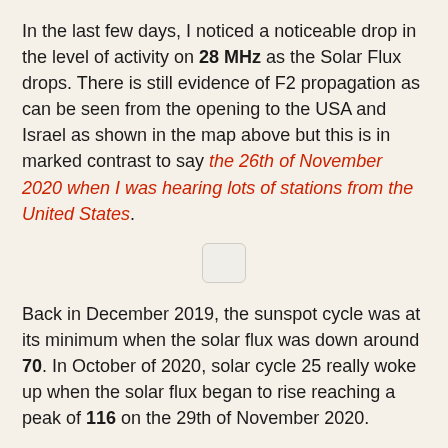In the last few days, I noticed a noticeable drop in the level of activity on 28 MHz as the Solar Flux drops. There is still evidence of F2 propagation as can be seen from the opening to the USA and Israel as shown in the map above but this is in marked contrast to say the 26th of November 2020 when I was hearing lots of stations from the United States.
[Figure (other): Small placeholder image box]
Back in December 2019, the sunspot cycle was at its minimum when the solar flux was down around 70. In October of 2020, solar cycle 25 really woke up when the solar flux began to rise reaching a peak of 116 on the 29th of November 2020.
After that, there was a gradual decline and it was back down to 83 on the 11th of December 2020. Hence the drop in radio conditions on the HF bands including 28 MHz.
The ARRL 10-metre contest is on this weekend and